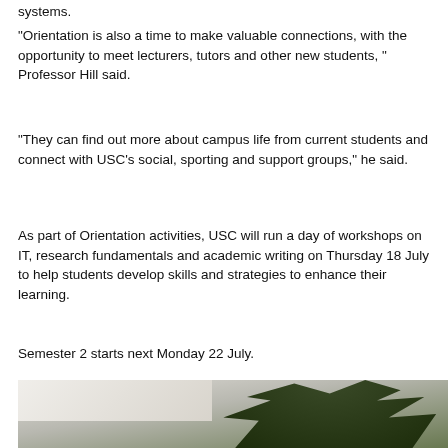systems.
“Orientation is also a time to make valuable connections, with the opportunity to meet lecturers, tutors and other new students, ” Professor Hill said.
“They can find out more about campus life from current students and connect with USC’s social, sporting and support groups,” he said.
As part of Orientation activities, USC will run a day of workshops on IT, research fundamentals and academic writing on Thursday 18 July to help students develop skills and strategies to enhance their learning.
Semester 2 starts next Monday 22 July.
[Figure (photo): Partial view of a campus building with ceiling/overhang visible on the left and green tree foliage on the right, photographed from below looking upward.]